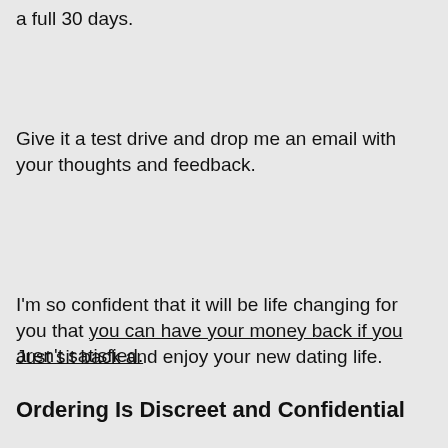a full 30 days.
Give it a test drive and drop me an email with your thoughts and feedback.
I'm so confident that it will be life changing for you that you can have your money back if you aren't satisfied.
Just sit back and enjoy your new dating life.
Ordering Is Discreet and Confidential